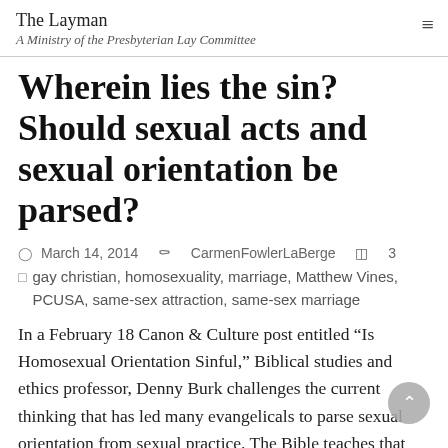The Layman
A Ministry of the Presbyterian Lay Committee
Wherein lies the sin? Should sexual acts and sexual orientation be parsed?
March 14, 2014   CarmenFowlerLaBerge   3
gay christian, homosexuality, marriage, Matthew Vines, PCUSA, same-sex attraction, same-sex marriage
In a February 18 Canon & Culture post entitled “Is Homosexual Orientation Sinful,” Biblical studies and ethics professor, Denny Burk challenges the current thinking that has led many evangelicals to parse sexual orientation from sexual practice. The Bible teaches that God condemns no sexual relations outside of the marriage